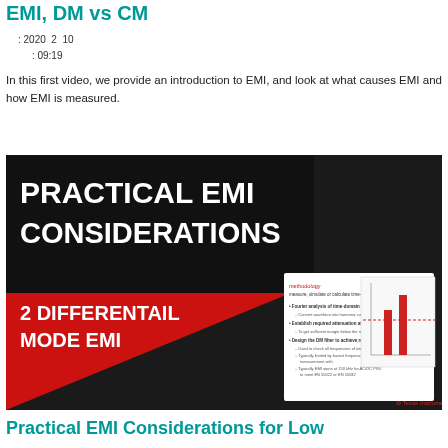EMI, DM vs CM
: 2020  2  10
: 09:19
In this first video, we provide an introduction to EMI, and look at what causes EMI and how EMI is measured.
[Figure (screenshot): Thumbnail image for 'Practical EMI Considerations' video series, episode 2: Differential Mode EMI. Shows bold white text on black/red background reading 'PRACTICAL EMI CONSIDERATIONS' and '2 DIFFERENTAIL MODE EMI', with a slide overlay showing bullet points and charts.]
Practical EMI Considerations for Low